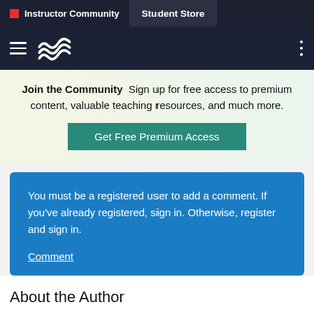Instructor Community  Student Store
[Figure (logo): Website navigation bar with hamburger menu and wave logo on dark background]
Join the Community  Sign up for free access to premium content, valuable teaching resources, and much more.
Get Free Premium Access
You must be a registered user to add a comment. If you've already registered, sign in. Otherwise, register and sign in.

Comment
About the Author
Nancy Sommers, who has taught composition and directed writing programs for more than thirty years, now teaches in